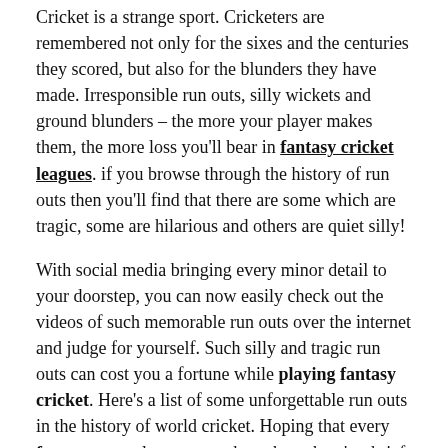Cricket is a strange sport. Cricketers are remembered not only for the sixes and the centuries they scored, but also for the blunders they have made. Irresponsible run outs, silly wickets and ground blunders – the more your player makes them, the more loss you'll bear in fantasy cricket leagues. if you browse through the history of run outs then you'll find that there are some which are tragic, some are hilarious and others are quiet silly!
With social media bringing every minor detail to your doorstep, you can now easily check out the videos of such memorable run outs over the internet and judge for yourself. Such silly and tragic run outs can cost you a fortune while playing fantasy cricket. Here's a list of some unforgettable run outs in the history of world cricket. Hoping that every fantasy game lover remembers them, here's a brief recapitulation of the same.